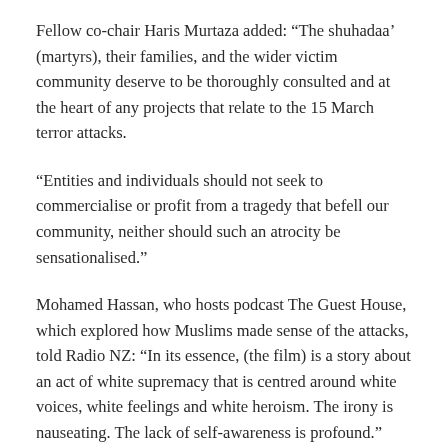Fellow co-chair Haris Murtaza added: “The shuhadaa’ (martyrs), their families, and the wider victim community deserve to be thoroughly consulted and at the heart of any projects that relate to the 15 March terror attacks.
“Entities and individuals should not seek to commercialise or profit from a tragedy that befell our community, neither should such an atrocity be sensationalised.”
Mohamed Hassan, who hosts podcast The Guest House, which explored how Muslims made sense of the attacks, told Radio NZ: “In its essence, (the film) is a story about an act of white supremacy that is centred around white voices, white feelings and white heroism. The irony is nauseating. The lack of self-awareness is profound.”
Sky News sought comment from FilmNation early on